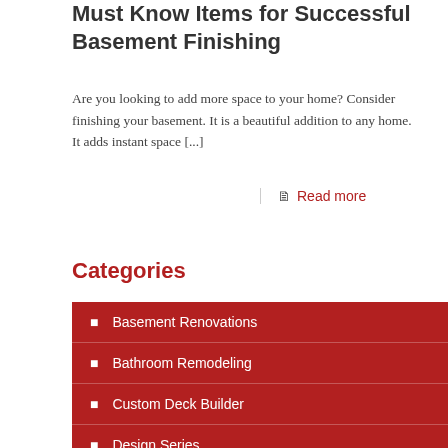Must Know Items for Successful Basement Finishing
Are you looking to add more space to your home? Consider finishing your basement. It is a beautiful addition to any home. It adds instant space [...]
Read more
Categories
Basement Renovations
Bathroom Remodeling
Custom Deck Builder
Design Series
Fire & Water Damage